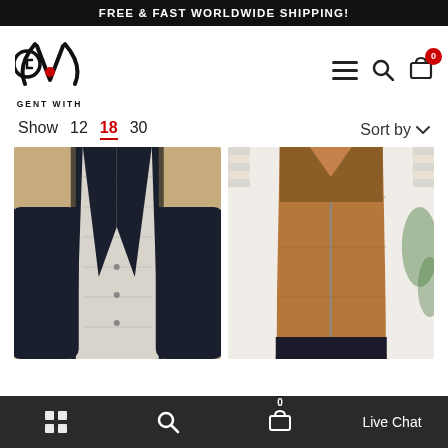FREE & FAST WORLDWIDE SHIPPING!
[Figure (logo): Gent With logo - stylized G and W monogram with red dot, text GENT WITH below]
Show 12 18 30
Sort by
[Figure (photo): Man wearing a black and white houndstooth patterned vest over a dark navy turtleneck, indoor restaurant setting]
[Figure (photo): Man wearing a caramel/tan colored puffer vest over a white long-sleeve shirt, indoor setting with plant visible]
Live Chat